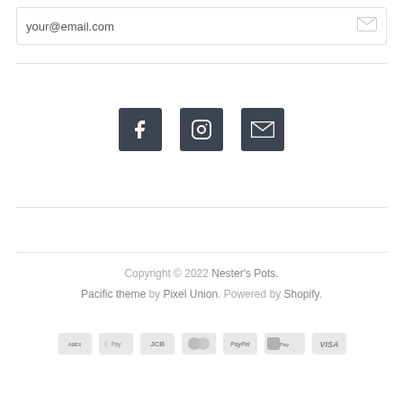your@email.com
[Figure (illustration): Social media icons: Facebook, Instagram, and Email/Mail icons in dark square boxes]
Copyright © 2022 Nester's Pots. Pacific theme by Pixel Union. Powered by Shopify.
[Figure (illustration): Payment method icons: American Express, Apple Pay, JCB, Mastercard, PayPal, Shopify Pay, Visa]